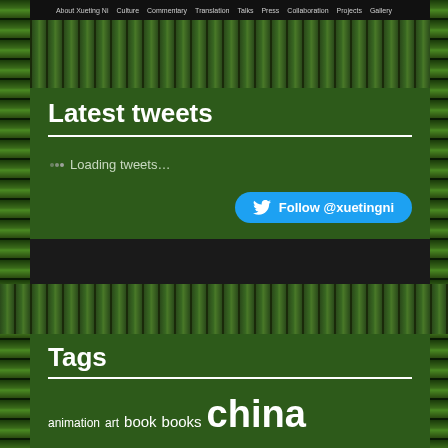About Xueting Ni  Culture  Commentary  Translation  Talks  Press  Collaboration  Projects  Gallery
[Figure (illustration): Bamboo pattern decorative strip at top of page]
Latest tweets
Loading tweets...
Follow @xuetingni
[Figure (illustration): Bamboo pattern decorative strip in middle of page]
Tags
animation  art  book  books  china  Chinese  Chinese culture  Chinese New Year  cinema  comics  commentary  cuisine  culture  Daoism  deities  deity  festival  fiction  film  food  Ghost Month  Guangzhou  history  horror  International Women's Day  kungfu  literature  london  manhua